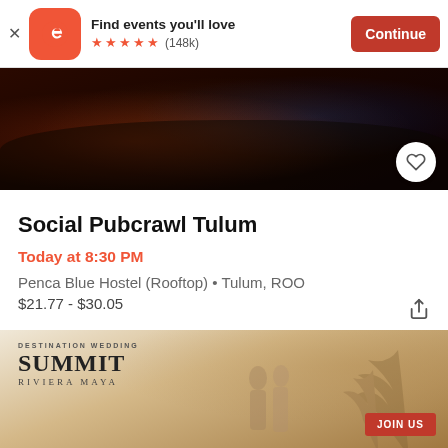[Figure (screenshot): Eventbrite app banner with logo, 'Find events you'll love', 5 stars, (148k) reviews, and a Continue button]
[Figure (photo): Dark crowd scene at a party/nightclub event with colorful lights]
Social Pubcrawl Tulum
Today at 8:30 PM
Penca Blue Hostel (Rooftop) • Tulum, ROO
$21.77 - $30.05
[Figure (photo): Destination Wedding Summit Riviera Maya advertisement banner with JOIN US button, palm trees and couple in background]